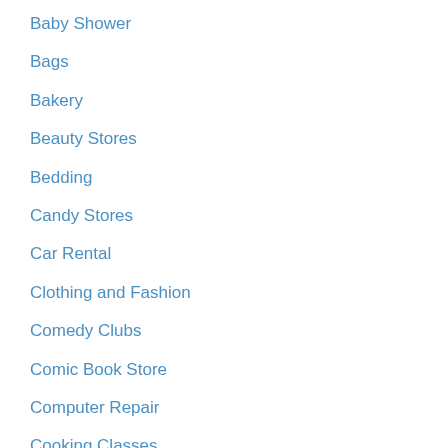Baby Shower
Bags
Bakery
Beauty Stores
Bedding
Candy Stores
Car Rental
Clothing and Fashion
Comedy Clubs
Comic Book Store
Computer Repair
Cooking Classes